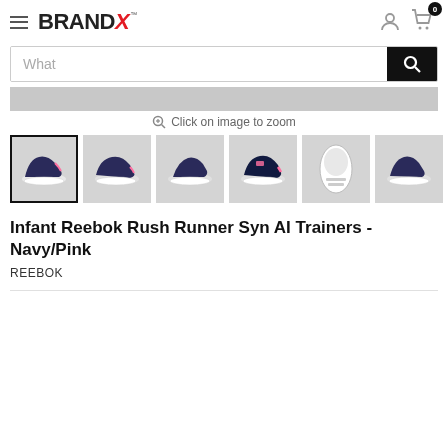BRANDX
What
[Figure (screenshot): Gray banner placeholder image area]
Click on image to zoom
[Figure (photo): Row of 7 thumbnail images of Infant Reebok Rush Runner Syn AI Trainers in Navy/Pink colorway, shown from various angles. First thumbnail has active/selected border.]
Infant Reebok Rush Runner Syn AI Trainers - Navy/Pink
REEBOK